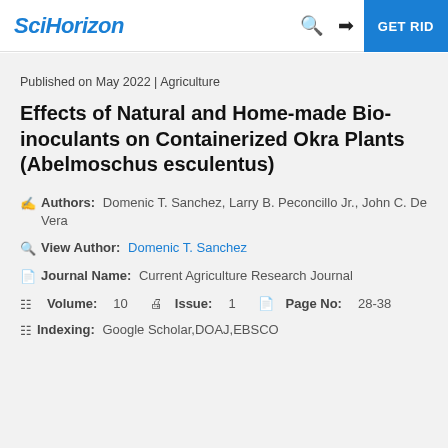SciHorizon | GET RID
Published on May 2022 | Agriculture
Effects of Natural and Home-made Bio-inoculants on Containerized Okra Plants (Abelmoschus esculentus)
Authors: Domenic T. Sanchez, Larry B. Peconcillo Jr., John C. De Vera
View Author: Domenic T. Sanchez
Journal Name: Current Agriculture Research Journal
Volume: 10   Issue: 1   Page No: 28-38
Indexing: Google Scholar,DOAJ,EBSCO